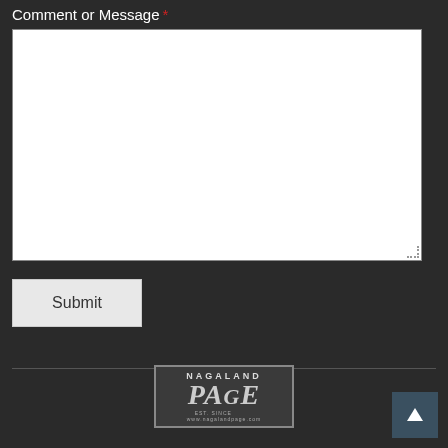Comment or Message *
[Figure (screenshot): Large empty white textarea input field for entering a comment or message]
[Figure (screenshot): Submit button, light gray, with text 'Submit']
[Figure (logo): Nagaland Page newspaper logo in a bordered box]
[Figure (other): Back to top button, dark teal square with white upward arrow, bottom right corner]